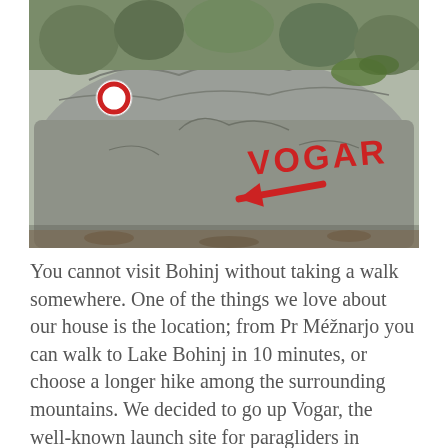[Figure (photo): A large grey limestone rock in a forested area with 'VOGAR' painted in red letters and a red arrow pointing left, and a red and white trail marker circle on the upper left of the rock.]
You cannot visit Bohinj without taking a walk somewhere. One of the things we love about our house is the location; from Pr Méžnarjo you can walk to Lake Bohinj in 10 minutes, or choose a longer hike among the surrounding mountains. We decided to go up Vogar, the well-known launch site for paragliders in summer. Heading up the path, we quickly reached the snowline, passing charming mountain huts for the reward of a great view of the lake. A quick cuppa in the Kosijev dom